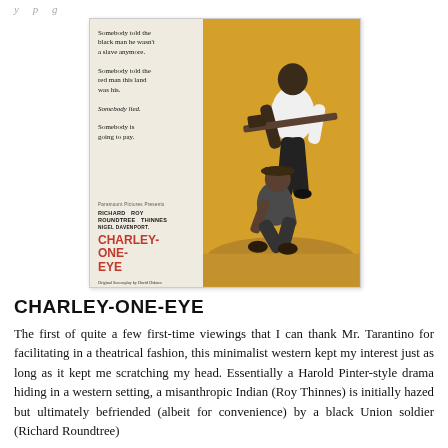y   p   g
[Figure (photo): Movie poster for 'Charley-One-Eye' with yellow background, two figures (one standing holding a rifle, one kneeling), tagline text on white left panel, red title text reading CHARLEY-ONE-EYE, cast listing RICHARD ROUNDTREE, ROY THINNES, NIGEL DAVENPORT]
CHARLEY-ONE-EYE
The first of quite a few first-time viewings that I can thank Mr. Tarantino for facilitating in a theatrical fashion, this minimalist western kept my interest just as long as it kept me scratching my head. Essentially a Harold Pinter-style drama hiding in a western setting, a misanthropic Indian (Roy Thinnes) is initially hazed but ultimately befriended (albeit for convenience) by a black Union soldier (Richard Roundtree) who has left behind...